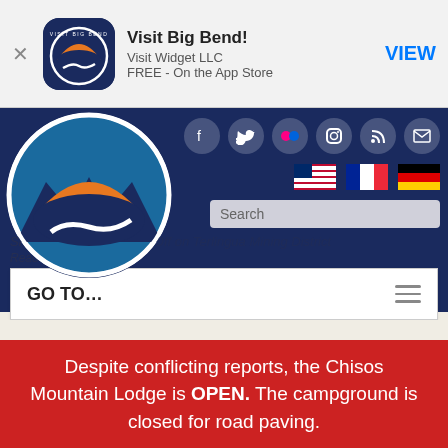[Figure (screenshot): App Store banner for Visit Big Bend app by Visit Widget LLC, FREE - On the App Store, with VIEW button]
[Figure (screenshot): Visit Big Bend website header with dark navy background, circular Visit Big Bend logo, social media icons (Facebook, Twitter, Flickr, Instagram, RSS, Email), country flag icons (US, France, Germany), search bar, navigation GO TO menu bar, and partially visible Big Bend Snapshot History of Chisos Mine and Terlingua infographic]
Despite conflicting reports, the Chisos Mountain Lodge is OPEN. The campground is closed for road paving.